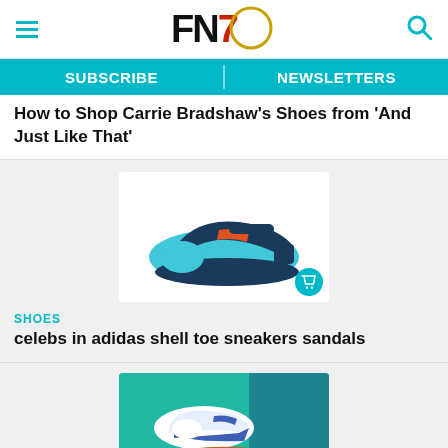FN7 logo with hamburger menu and search icon
SUBSCRIBE | NEWSLETTERS
How to Shop Carrie Bradshaw's Shoes from 'And Just Like That'
[Figure (photo): Teal and navy athletic shoe with velcro strap and orange accent, with shopping bag icon overlay]
SHOES
celebs in adidas shell toe sneakers sandals
[Figure (photo): Teal graphic with white and blue sneaker and brown mule shoe, with shopping bag icon overlay]
SHOES
The 20 Most Comfortable Shoes for Men You'll Want to Live in